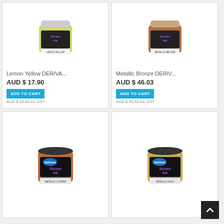[Figure (photo): Jar of Derivan Screen Ink - Lemon Yellow]
Lemon Yellow DERIVA...
AUD $ 17.90
ADD TO CART
AUD $ 19.69 inc GST
[Figure (photo): Jar of Derivan Screen Ink - Metallic Bronze]
Metallic Bronze DERIV...
AUD $ 46.03
ADD TO CART
AUD $ 50.63 inc GST
[Figure (photo): Jar of Derivan Screen Ink - Metallic Copper]
[Figure (photo): Jar of Derivan Screen Ink - Metallic Gold]